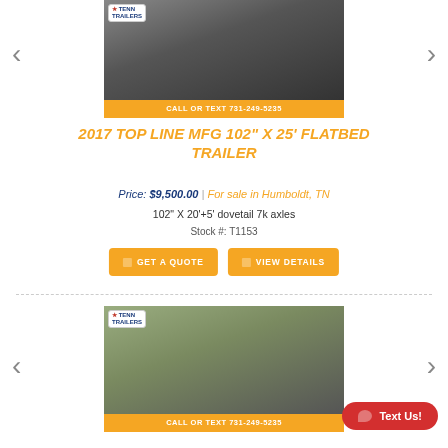[Figure (photo): Flatbed trailer (gooseneck) photo with orange 'CALL OR TEXT 731-249-5235' banner, Tenn Trailers logo visible top-left]
2017 TOP LINE MFG 102" X 25' FLATBED TRAILER
Price: $9,500.00 | For sale in Humboldt, TN
102" X 20'+5' dovetail 7k axles
Stock #: T1153
GET A QUOTE
VIEW DETAILS
[Figure (photo): Second flatbed trailer photo with wooden deck, orange 'CALL OR TEXT 731-249-5235' banner, Tenn Trailers logo visible]